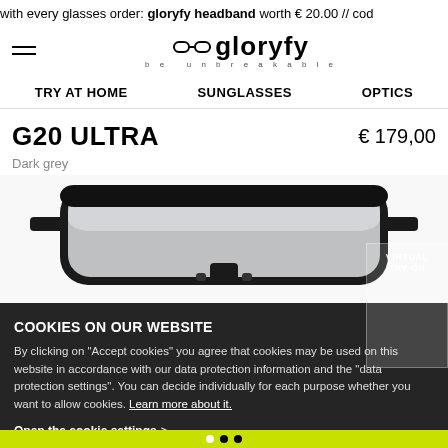with every glasses order: gloryfy headband worth € 20.00 // cod
[Figure (logo): Gloryfy logo with glasses icon and tagline 'be unbreakable']
TRY AT HOME   SUNGLASSES   OPTICS
G20 ULTRA
€ 179,00
Dark grey
[Figure (photo): Black wraparound sunglasses (G20 ULTRA) with mirrored lenses, shown from front, cropped view]
COOKIES ON OUR WEBSITE
By clicking on "Accept cookies" you agree that cookies may be used on this website in accordance with our data protection information and the "data protection settings". You can decide individually for each purpose whether you want to allow cookies. Learn more about it.
Open the cookie settings >